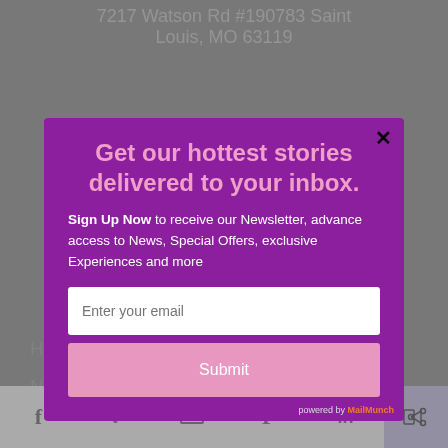7217 Watson Rd #190783 Saint Louis, MO 63119
[Figure (screenshot): Newsletter signup modal overlay on a website. Purple modal with close button, heading 'Get our hottest stories delivered to your inbox.', body text about signing up for newsletter, email input field, and Submit button. Powered by MailMunch badge. Background shows greyed-out website with navigation links and social sharing bar at bottom.]